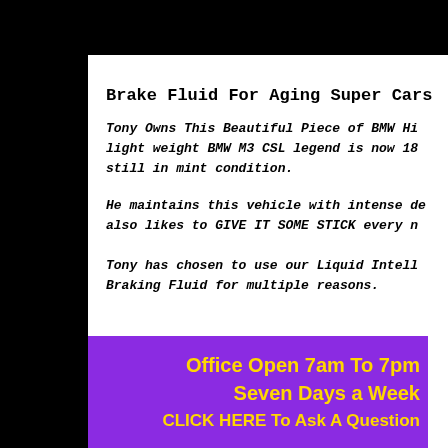Brake Fluid For Aging Super Cars
Tony Owns This Beautiful Piece of BMW History. This light weight BMW M3 CSL legend is now 18 years old and still in mint condition.
He maintains this vehicle with intense dedication and also likes to GIVE IT SOME STICK every now and then.
Tony has chosen to use our Liquid Intelligence Braking Fluid for multiple reasons.
Office Open 7am To 7pm
Seven Days a Week
CLICK HERE To Ask A Question